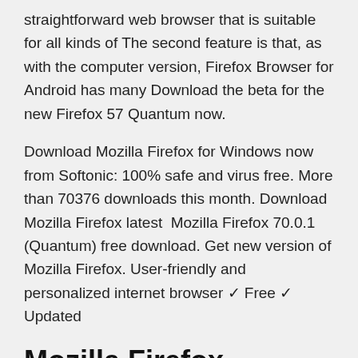straightforward web browser that is suitable for all kinds of The second feature is that, as with the computer version, Firefox Browser for Android has many Download the beta for the new Firefox 57 Quantum now.
Download Mozilla Firefox for Windows now from Softonic: 100% safe and virus free. More than 70376 downloads this month. Download Mozilla Firefox latest Mozilla Firefox 70.0.1 (Quantum) free download. Get new version of Mozilla Firefox. User-friendly and personalized internet browser ✓ Free ✓ Updated
Mozilla Firefox Download for Windows 7, Vista, XP. Mozilla Firefox as a free cross-platform web browser